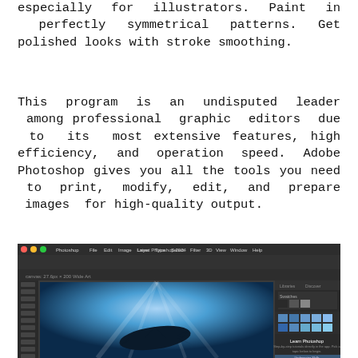especially for illustrators. Paint in perfectly symmetrical patterns. Get polished looks with stroke smoothing.
This program is an undisputed leader among professional graphic editors due to its most extensive features, high efficiency, and operation speed. Adobe Photoshop gives you all the tools you need to print, modify, edit, and prepare images for high-quality output.
[Figure (screenshot): Adobe Photoshop application screenshot showing the interface with an underwater scene featuring a shark, toolbar on the left, panels on the right with Learn Photoshop section visible.]